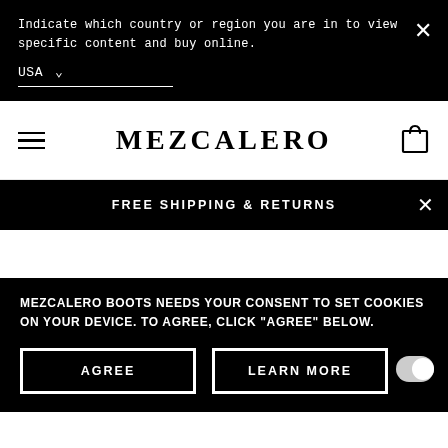Indicate which country or region you are in to view specific content and buy online.
USA
MEZCALERO
FREE SHIPPING & RETURNS
MEZCALERO BOOTS NEEDS YOUR CONSENT TO SET COOKIES ON YOUR DEVICE. TO AGREE, CLICK "AGREE" BELOW.
AGREE
LEARN MORE